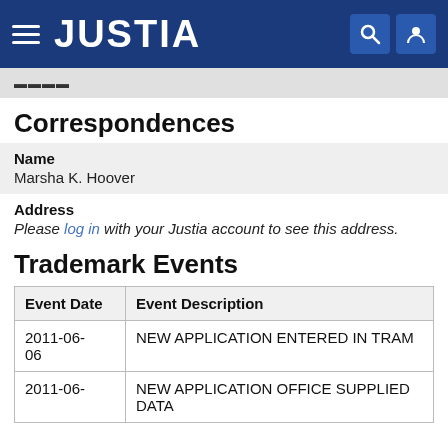JUSTIA
Correspondences
| Name |  |
| --- | --- |
| Marsha K. Hoover |  |
Address
Please log in with your Justia account to see this address.
Trademark Events
| Event Date | Event Description |
| --- | --- |
| 2011-06-06 | NEW APPLICATION ENTERED IN TRAM |
| 2011-06- | NEW APPLICATION OFFICE SUPPLIED DATA |